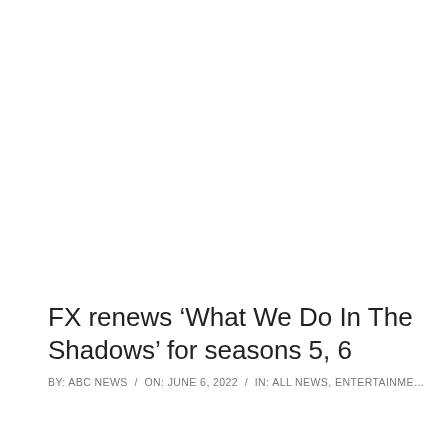FX renews ‘What We Do In The Shadows’ for seasons 5, 6
BY: ABC NEWS / ON: JUNE 6, 2022 / IN: ALL NEWS, ENTERTAINMENT